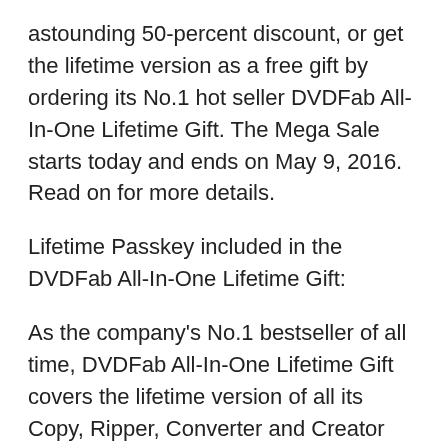astounding 50-percent discount, or get the lifetime version as a free gift by ordering its No.1 hot seller DVDFab All-In-One Lifetime Gift. The Mega Sale starts today and ends on May 9, 2016. Read on for more details.
Lifetime Passkey included in the DVDFab All-In-One Lifetime Gift:
As the company's No.1 bestseller of all time, DVDFab All-In-One Lifetime Gift covers the lifetime version of all its Copy, Ripper, Converter and Creator modules, which could be everything a movie lover may need to back up their physical DVD and Blu-ray discs, convert them into on-demand formats for enjoying on the move, or create